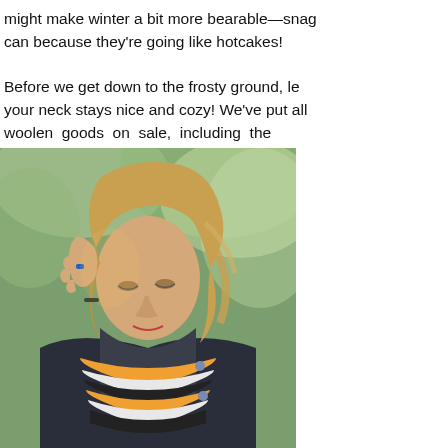might make winter a bit more bearable—snag can because they're going like hotcakes!

Before we get down to the frosty ground, le your neck stays nice and cozy! We've put all woolen goods on sale, including the Aberdeen Scarf:
[Figure (photo): A woman with blonde hair wearing a striped black, white, and orange/yellow scarf and a dark jacket, looking down with her hand raised to her head. Background is blurred green trees.]